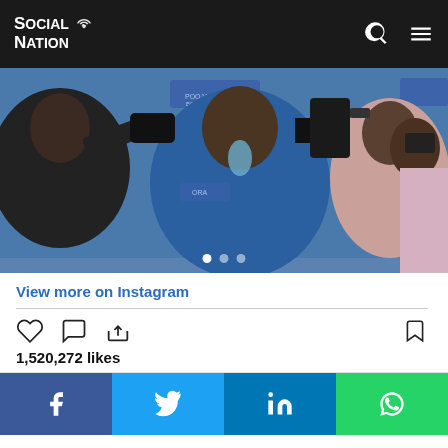Social Nation
[Figure (photo): Group of cameramen and press photographers photographing at an event with blue backdrop, view from behind]
View more on Instagram
1,520,272 likes
[Figure (infographic): Social share bar with Facebook, Twitter, LinkedIn, and WhatsApp buttons]
'Dhindora' even reached 'Big Boss' which is first for a